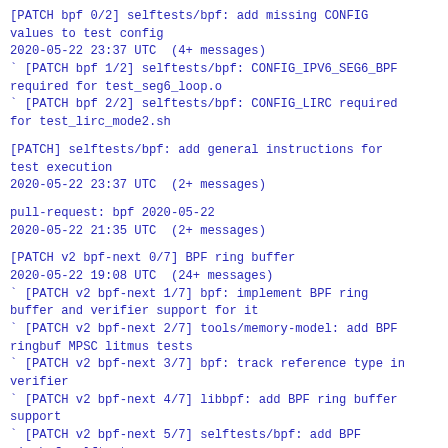[PATCH bpf 0/2] selftests/bpf: add missing CONFIG values to test config
 2020-05-22 23:37 UTC  (4+ messages)
` [PATCH bpf 1/2] selftests/bpf: CONFIG_IPV6_SEG6_BPF required for test_seg6_loop.o
` [PATCH bpf 2/2] selftests/bpf: CONFIG_LIRC required for test_lirc_mode2.sh
[PATCH] selftests/bpf: add general instructions for test execution
 2020-05-22 23:37 UTC  (2+ messages)
pull-request: bpf 2020-05-22
 2020-05-22 21:35 UTC  (2+ messages)
[PATCH v2 bpf-next 0/7] BPF ring buffer
 2020-05-22 19:08 UTC  (24+ messages)
` [PATCH v2 bpf-next 1/7] bpf: implement BPF ring buffer and verifier support for it
` [PATCH v2 bpf-next 2/7] tools/memory-model: add BPF ringbuf MPSC litmus tests
` [PATCH v2 bpf-next 3/7] bpf: track reference type in verifier
` [PATCH v2 bpf-next 4/7] libbpf: add BPF ring buffer support
` [PATCH v2 bpf-next 5/7] selftests/bpf: add BPF ringbuf selftests
` [PATCH v2 bpf-next 6/7] bpf: add BPF ringbuf and perf buffer benchmarks